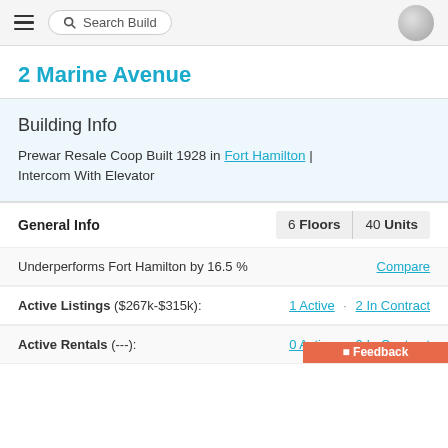Search Build
2 Marine Avenue
Building Info
Prewar Resale Coop Built 1928 in Fort Hamilton | Intercom With Elevator
General Info  6 Floors  40 Units
Underperforms Fort Hamilton by 16.5 %  Compare
Active Listings ($267k-$315k):  1 Active · 2 In Contract
Active Rentals (---):  0 Active · 0 In Contract